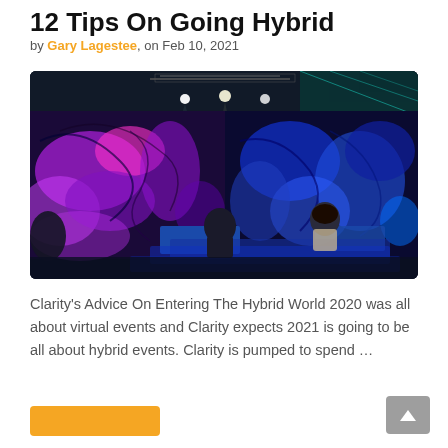12 Tips On Going Hybrid
by Gary Lagestee, on Feb 10, 2021
[Figure (photo): A hybrid event venue with dramatic blue and purple swirling LED display walls, stage lighting rigs on the ceiling, and a small socially-distanced audience seated in blue chairs facing the stage.]
Clarity's Advice On Entering The Hybrid World 2020 was all about virtual events and Clarity expects 2021 is going to be all about hybrid events. Clarity is pumped to spend …